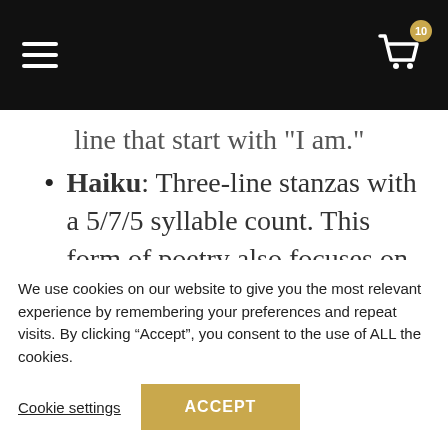[Navigation bar with hamburger menu and shopping cart icon]
line that start with 'I am.'
Haiku: Three-line stanzas with a 5/7/5 syllable count. This form of poetry also focuses on the beauty and simplicity found in nature, or comparisons.
After students have workshopped their
We use cookies on our website to give you the most relevant experience by remembering your preferences and repeat visits. By clicking “Accept”, you consent to the use of ALL the cookies.
Cookie settings   ACCEPT